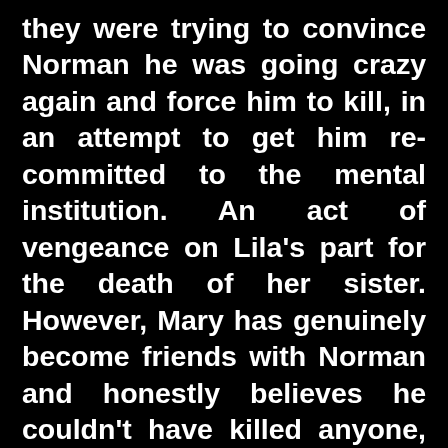they were trying to convince Norman he was going crazy again and force him to kill, in an attempt to get him recommitted to the mental institution. An act of vengeance on Lila's part for the death of her sister. However, Mary has genuinely become friends with Norman and honestly believes he couldn't have killed anyone, she thinks there is someone else involved, someone else who killed the the boy. Dr. Bill Raymond learns that Mary is Lila Lommis' daughter and tells Norman all about it and their plan to try to drive him insane. Norman only half believes it and is